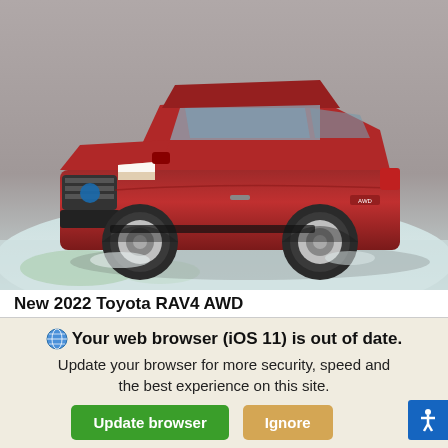[Figure (photo): Red 2022 Toyota RAV4 AWD Hybrid SUV photographed in a winter/icy outdoor setting, front-right three-quarter view]
New 2022 Toyota RAV4 AWD
Hybrid Limited SUV Sport Utility 1-Speed CVT w/OD
MSRP
$43,184
Your web browser (iOS 11) is out of date.
Update your browser for more security, speed and the best experience on this site.
Update browser
Ignore